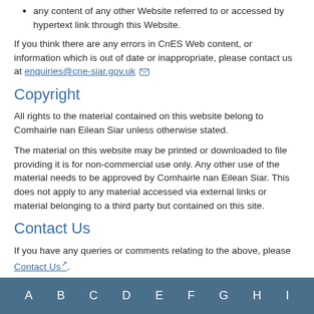any content of any other Website referred to or accessed by hypertext link through this Website.
If you think there are any errors in CnES Web content, or information which is out of date or inappropriate, please contact us at enquiries@cne-siar.gov.uk
Copyright
All rights to the material contained on this website belong to Comhairle nan Eilean Siar unless otherwise stated.
The material on this website may be printed or downloaded to file providing it is for non-commercial use only. Any other use of the material needs to be approved by Comhairle nan Eilean Siar. This does not apply to any material accessed via external links or material belonging to a third party but contained on this site.
Contact Us
If you have any queries or comments relating to the above, please Contact Us.
A B C D E F G H I